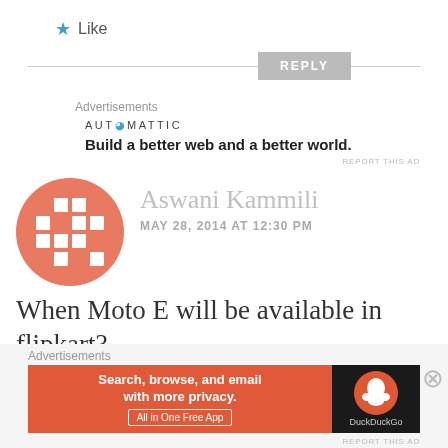★ Like
REPLY
Advertisements
[Figure (logo): Automattic logo with text: AUT⊙MATTIC — Build a better web and a better world.]
REPORT THIS AD
[Figure (illustration): Aswani Kammili avatar - salmon/red circular icon with white grid pattern]
Aswani Kammili
MAY 28, 2014 AT 12:30 PM
When Moto E will be available in flipkart?
Advertisements
[Figure (screenshot): DuckDuckGo advertisement banner: Search, browse, and email with more privacy. All in One Free App — DuckDuckGo logo on dark background]